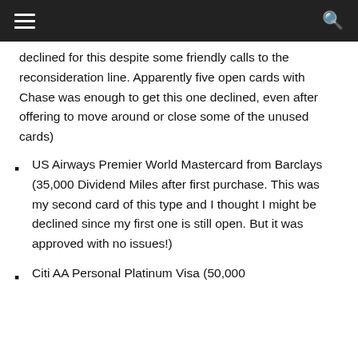declined for this despite some friendly calls to the reconsideration line.  Apparently five open cards with Chase was enough to get this one declined, even after offering to move around or close some of the unused cards)
US Airways Premier World Mastercard from Barclays (35,000 Dividend Miles after first purchase.  This was my second card of this type and I thought I might be declined since my first one is still open.  But it was approved with no issues!)
Citi AA Personal Platinum Visa (50,000